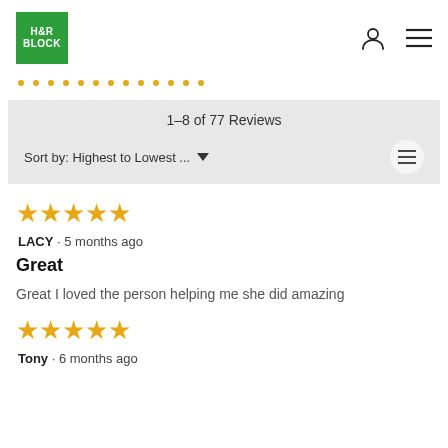[Figure (logo): H&R Block green square logo]
[Figure (other): Dotted orange/yellow progress bar]
1–8 of 77 Reviews
Sort by: Highest to Lowest ...
[Figure (other): 5 yellow stars rating]
LACY · 5 months ago
Great
Great I loved the person helping me she did amazing
[Figure (other): 5 yellow stars rating]
Tony · 6 months ago